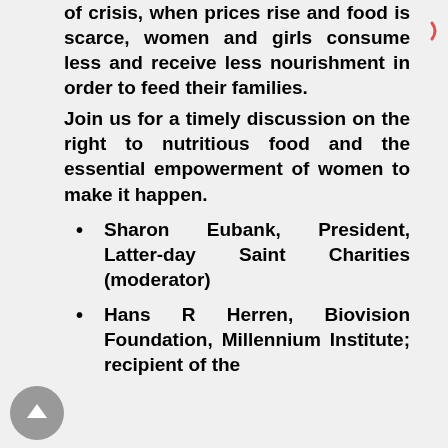of crisis, when prices rise and food is scarce, women and girls consume less and receive less nourishment in order to feed their families.
Join us for a timely discussion on the right to nutritious food and the essential empowerment of women to make it happen.
Sharon Eubank, President, Latter-day Saint Charities (moderator)
Hans R Herren, Biovision Foundation, Millennium Institute; recipient of the